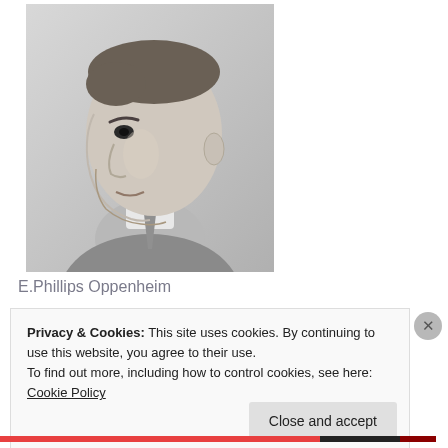[Figure (photo): Black and white portrait photograph of E. Phillips Oppenheim, a man in a suit and tie, shown in three-quarter profile facing left.]
E.Phillips Oppenheim
Privacy & Cookies: This site uses cookies. By continuing to use this website, you agree to their use.
To find out more, including how to control cookies, see here: Cookie Policy